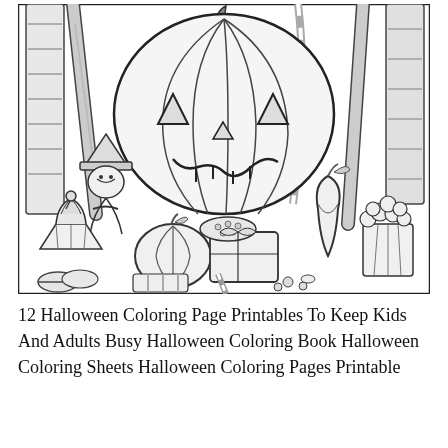[Figure (illustration): A detailed black-and-white Halloween coloring page illustration showing a large jack-o'-lantern pumpkin face at the top center, wooden planks/fence behind it, a small witch figure on the left, a small pumpkin in the middle-left, a cupcake on the far left, candy and treats in the center, an apple and popcorn on the right, and various Halloween-themed items arranged in a scene. The image is outlined in a rectangular border.]
12 Halloween Coloring Page Printables To Keep Kids And Adults Busy Halloween Coloring Book Halloween Coloring Sheets Halloween Coloring Pages Printable